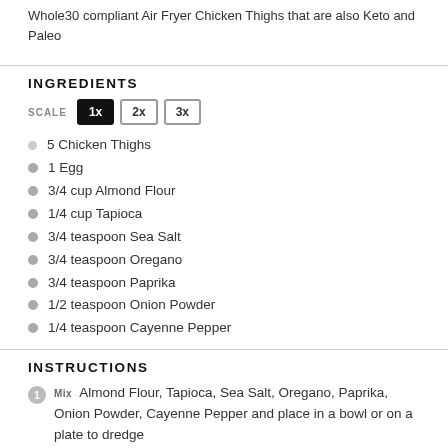Whole30 compliant Air Fryer Chicken Thighs that are also Keto and Paleo
INGREDIENTS
SCALE 1x 2x 3x
5 Chicken Thighs
1 Egg
3/4 cup Almond Flour
1/4 cup Tapioca
3/4 teaspoon Sea Salt
3/4 teaspoon Oregano
3/4 teaspoon Paprika
1/2 teaspoon Onion Powder
1/4 teaspoon Cayenne Pepper
INSTRUCTIONS
Mix Almond Flour, Tapioca, Sea Salt, Oregano, Paprika, Onion Powder, Cayenne Pepper and place in a bowl or on a plate to dredge